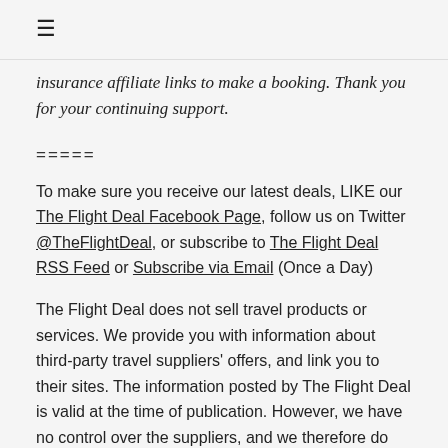☰
insurance affiliate links to make a booking. Thank you for your continuing support.
=====
To make sure you receive our latest deals, LIKE our The Flight Deal Facebook Page, follow us on Twitter @TheFlightDeal, or subscribe to The Flight Deal RSS Feed or Subscribe via Email (Once a Day)
The Flight Deal does not sell travel products or services. We provide you with information about third-party travel suppliers' offers, and link you to their sites. The information posted by The Flight Deal is valid at the time of publication. However, we have no control over the suppliers, and we therefore do not warrant or guarantee that their offers will